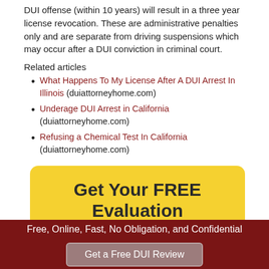DUI offense (within 10 years) will result in a three year license revocation. These are administrative penalties only and are separate from driving suspensions which may occur after a DUI conviction in criminal court.
Related articles
What Happens To My License After A DUI Arrest In Illinois (duiattorneyhome.com)
Underage DUI Arrest in California (duiattorneyhome.com)
Refusing a Chemical Test In California (duiattorneyhome.com)
[Figure (infographic): Yellow rounded box with bold text 'Get Your FREE Evaluation' on a yellow background, with a dark red banner below showing 'Free, Online, Fast, No Obligation, and Confidential' and a grey button 'Get a Free DUI Review']